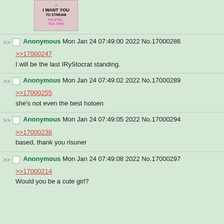[Figure (illustration): Thumbnail image with text 'I WANT YOU TO STREAM PASTEL TEA TIME' with decorative styling]
>> Anonymous Mon Jan 24 07:49:00 2022 No.17000286
>>17000247
I will be the last IRyStocrat standing.
>> Anonymous Mon Jan 24 07:49:02 2022 No.17000289
>>17000255
she's not even the best holoen
>> Anonymous Mon Jan 24 07:49:05 2022 No.17000294
>>17000238
based, thank you risuner
>> Anonymous Mon Jan 24 07:49:08 2022 No.17000297
>>17000214
Would you be a cute girl?